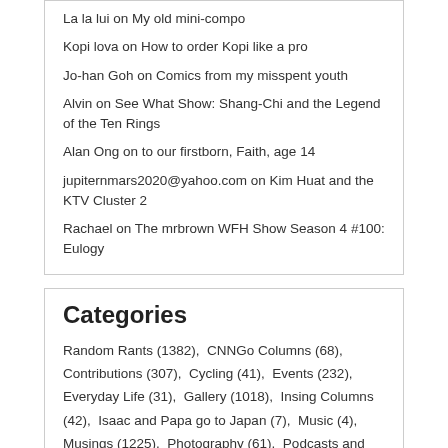La la lui on My old mini-compo
Kopi lova on How to order Kopi like a pro
Jo-han Goh on Comics from my misspent youth
Alvin on See What Show: Shang-Chi and the Legend of the Ten Rings
Alan Ong on to our firstborn, Faith, age 14
jupiternmars2020@yahoo.com on Kim Huat and the KTV Cluster 2
Rachael on The mrbrown WFH Show Season 4 #100: Eulogy
Categories
Random Rants (1382),  CNNGo Columns (68),  Contributions (307),  Cycling (41),  Events (232),  Everyday Life (31),  Gallery (1018),  Insing Columns (42),  Isaac and Papa go to Japan (7),  Music (4),  Musings (1225),  Photography (61),  Podcasts and Videos (1032),  Popular (89),  Random Rants (24),  Reader Email (27),